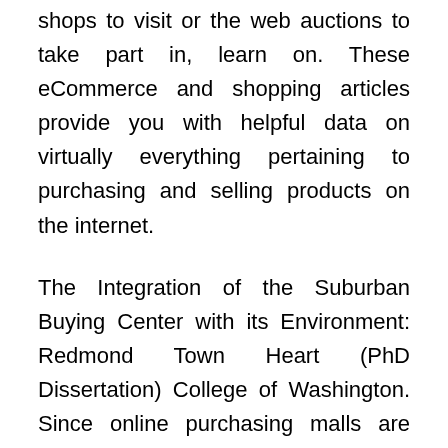shops to visit or the web auctions to take part in, learn on. These eCommerce and shopping articles provide you with helpful data on virtually everything pertaining to purchasing and selling products on the internet.
The Integration of the Suburban Buying Center with its Environment: Redmond Town Heart (PhD Dissertation) College of Washington. Since online purchasing malls are becoming so fashionable, one can find that the majority on-line stores place an excessive amount of emphasis on customer support.